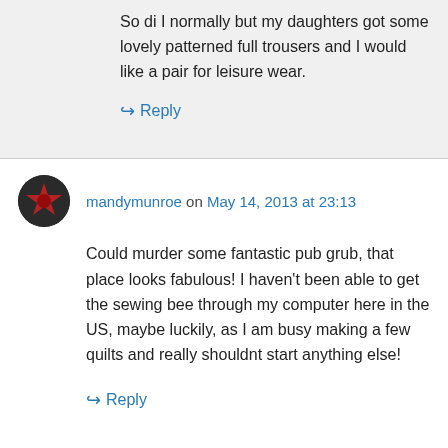So di I normally but my daughters got some lovely patterned full trousers and I would like a pair for leisure wear.
↪ Reply
mandymunroe on May 14, 2013 at 23:13
Could murder some fantastic pub grub, that place looks fabulous! I haven't been able to get the sewing bee through my computer here in the US, maybe luckily, as I am busy making a few quilts and really shouldnt start anything else!
↪ Reply